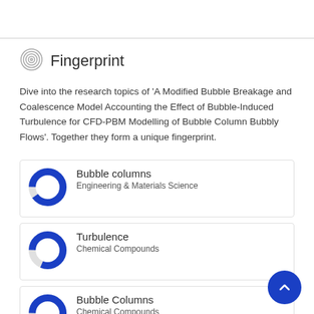Fingerprint
Dive into the research topics of 'A Modified Bubble Breakage and Coalescence Model Accounting the Effect of Bubble-Induced Turbulence for CFD-PBM Modelling of Bubble Column Bubbly Flows'. Together they form a unique fingerprint.
Bubble columns
Engineering & Materials Science
Turbulence
Chemical Compounds
Bubble Columns
Chemical Compounds